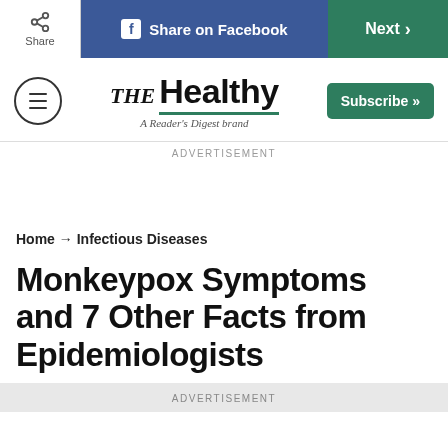Share | Share on Facebook | Next
[Figure (logo): THE Healthy – A Reader's Digest brand logo with hamburger menu icon and Subscribe button]
ADVERTISEMENT
Home → Infectious Diseases
Monkeypox Symptoms and 7 Other Facts from Epidemiologists
ADVERTISEMENT